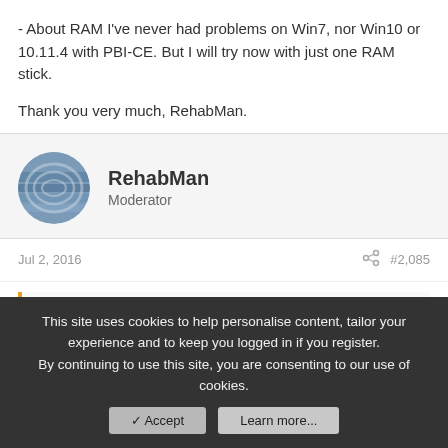- About RAM I've never had problems on Win7, nor Win10 or 10.11.4 with PBI-CE. But I will try now with just one RAM stick.

Thank you very much, RehabMan.
RehabMan
Moderator
Jul 2, 2016
#2,085
NastyHorse said: ↑
- How is it possible that my Clover version is old?? I've used Clover v2.3k r3577 for the USB and later on on my system.
This site uses cookies to help personalise content, tailor your experience and to keep you logged in if you register.
By continuing to use this site, you are consenting to our use of cookies.